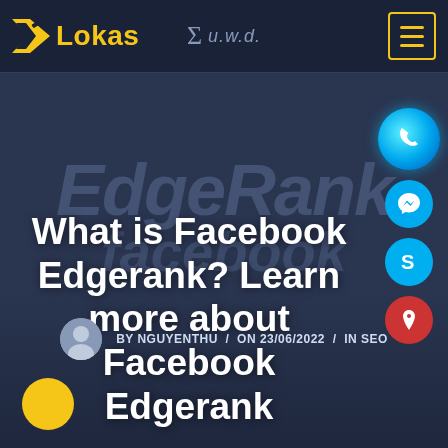Lokas | u.w.d.
[Figure (illustration): Watermark text reading 'EdgeRank' and 'facebook' in large italic gray letters as background decoration]
[Figure (illustration): Side icon panel with phone, messenger, Skype, and map location icons on right side]
What is Facebook Edgerank? Learn more about Facebook Edgerank
BY NGUYENTHU / ON 23/06/2022 / IN SEO